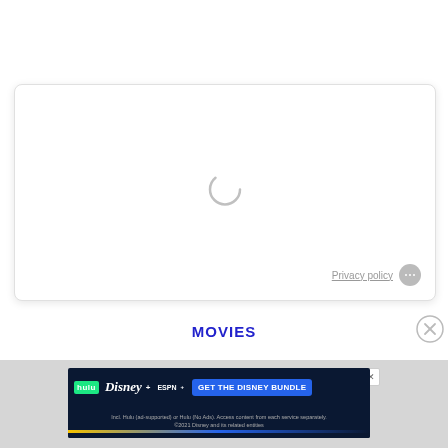[Figure (screenshot): A white rounded card/widget with a loading spinner circle in the center and a 'Privacy policy' link with a grey dots button in the bottom-right corner.]
Privacy policy
MOVIES
[Figure (screenshot): Disney Bundle advertisement banner showing Hulu, Disney+, ESPN+ logos and 'GET THE DISNEY BUNDLE' button, with fine print text below.]
GET THE DISNEY BUNDLE
Incl. Hulu (ad-supported) or Hulu (No Ads). Access content from each service separately. ©2021 Disney and its related entities